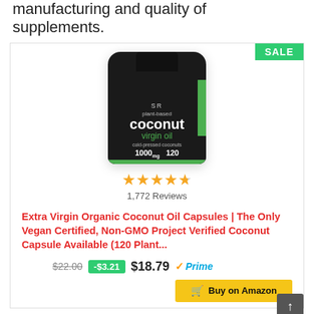manufacturing and quality of supplements.
[Figure (photo): A black bottle of Sports Research plant-based coconut virgin oil dietary supplement, 1000mg, 120 capsules, with a green stripe and SR logo. SALE badge in top right corner.]
1,772 Reviews
Extra Virgin Organic Coconut Oil Capsules | The Only Vegan Certified, Non-GMO Project Verified Coconut Capsule Available (120 Plant...
$22.00  -$3.21  $18.79  ✓Prime
Buy on Amazon